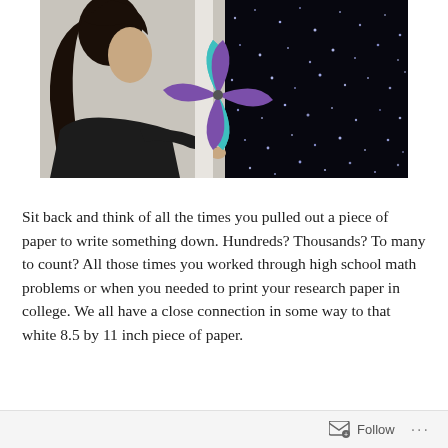[Figure (photo): A woman with long dark hair and glasses holds a purple and teal paper pinwheel up to her mouth as if blowing on it. To the right is a black background with scattered white and blue dots resembling stars or particles.]
Sit back and think of all the times you pulled out a piece of paper to write something down. Hundreds? Thousands? To many to count? All those times you worked through high school math problems or when you needed to print your research paper in college. We all have a close connection in some way to that white 8.5 by 11 inch piece of paper.
Follow ...